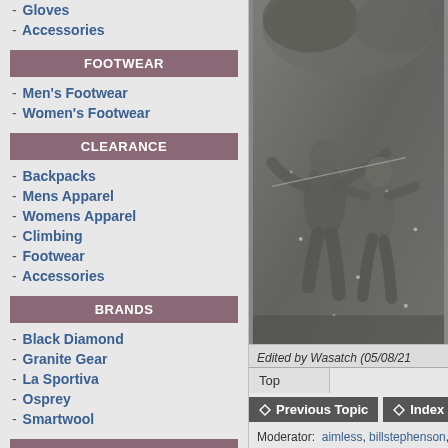- Gloves
- Accessories
FOOTWEAR
- Men's Footwear
- Women's Footwear
CLEARANCE
- Backpacks
- Mens Apparel
- Womens Apparel
- Climbing
- Footwear
- Accessories
BRANDS
- Black Diamond
- Granite Gear
- La Sportiva
- Osprey
- Smartwool
WAYS TO SHOP
[Figure (photo): A stone or metal relief sculpture showing figures in movement, appears to be a decorative architectural element]
Edited by Wasatch (05/08/21
Top
Previous Topic   Index   Nex
Moderator:  aimless, billstephenson, Dryer, G